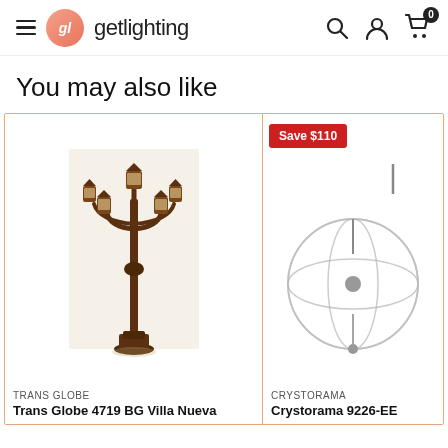getlighting — navigation header with search, account, and cart icons
You may also like
[Figure (photo): Trans Globe 4719 BG Villa Nueva outdoor lamp post with four lantern heads, dark bronze finish, on a tall decorative pole]
TRANS GLOBE
Trans Globe 4719 BG Villa Nueva
[Figure (photo): Crystorama 9226-EB orb chandelier with metal cage frame in English Bronze finish, partially visible, with Save $110 badge]
CRYSTORAMA
Crystorama 9226-EB